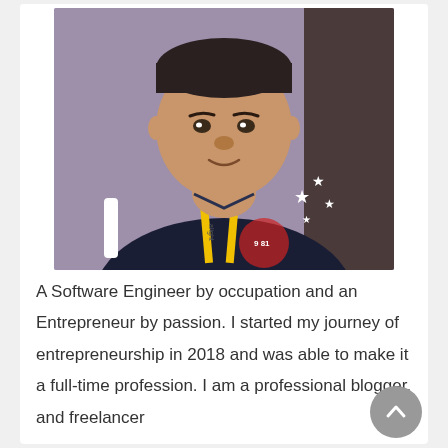[Figure (photo): Portrait photo of a man wearing a dark navy blue top with star pattern and yellow lanyard with 'alight' branding, against a purple/grey background.]
A Software Engineer by occupation and an Entrepreneur by passion. I started my journey of entrepreneurship in 2018 and was able to make it a full-time profession. I am a professional blogger, and freelancer